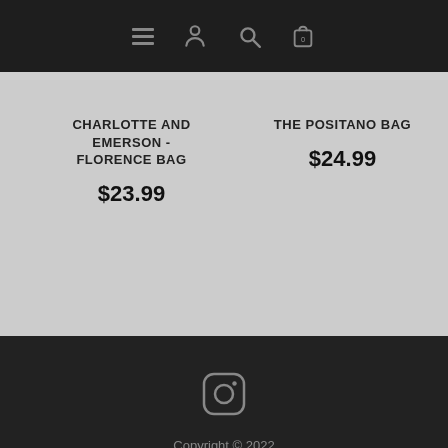Navigation bar with hamburger menu, user icon, search icon, and cart icon (0 items)
CHARLOTTE AND EMERSON - FLORENCE BAG
$23.99
THE POSITANO BAG
$24.99
Copyright © 2022